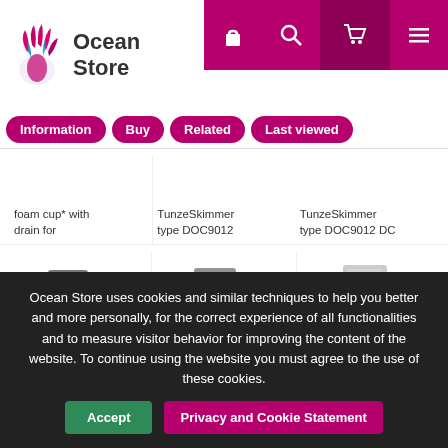[Figure (logo): Ocean Store logo with coral/anemone icon and text 'Ocean Store']
[Figure (infographic): Header navigation icons: lock, search, cart, menu on magenta background]
Information
Buy
Related
Last viewed
foam cup* with drain for
TunzeSkimmer type DOC9012
TunzeSkimmer type DOC9012 DC
[Figure (photo): Tunze DOC Skimmer 9410 DC protein skimmer product photo]
Tunze DOC Skimmer 9410 DC protein skimmer
[Figure (photo): Tunze DOC Skimmer 9430 protein skimmer product photo]
Tunze DOC Skimmer 9430 protein skimmer
[Figure (photo): Tunze DOC Skimmer 9430 DC product photo]
Tunze DOC Skimmer 9430 DC
Ocean Store uses cookies and similar techniques to help you better and more personally, for the correct experience of all functionalities and to measure visitor behavior for improving the content of the website. To continue using the website you must agree to the use of these cookies.
Accept
Privacy and Cookie Statement